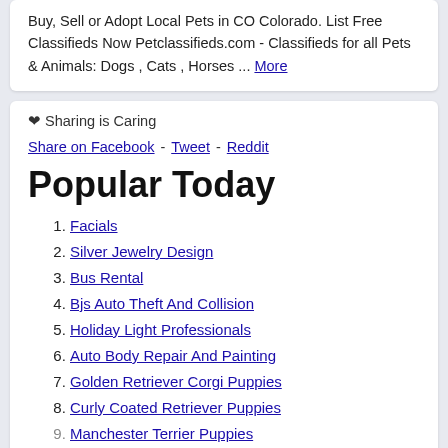Buy, Sell or Adopt Local Pets in CO Colorado. List Free Classifieds Now Petclassifieds.com - Classifieds for all Pets & Animals: Dogs , Cats , Horses ... More
❤ Sharing is Caring
Share on Facebook - Tweet - Reddit
Popular Today
1. Facials
2. Silver Jewelry Design
3. Bus Rental
4. Bjs Auto Theft And Collision
5. Holiday Light Professionals
6. Auto Body Repair And Painting
7. Golden Retriever Corgi Puppies
8. Curly Coated Retriever Puppies
9. Manchester Terrier Puppies